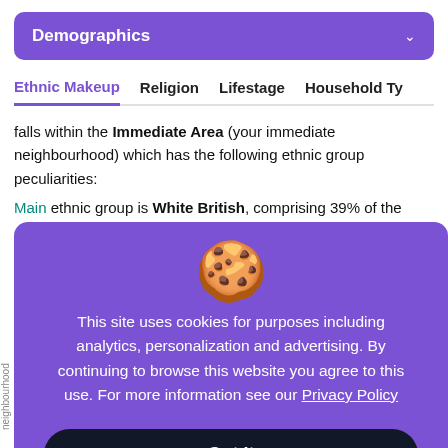Demographics
Ethnic Makeup   Religion   Lifestage   Household Ty
falls within the Immediate Area (your immediate neighbourhood) which has the following ethnic group peculiarities:
Main ethnic group is White British, comprising 39% of the
This site uses cookies for purposes including analytics, personalization and advertising. By continuing to browse this website you agree to this use. For more information see our Privacy Policy
Got it